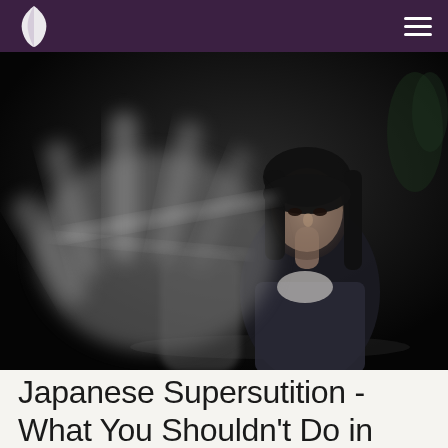Logo and navigation menu
[Figure (photo): Dark atmospheric photo of a young woman with black hair reaching her blurred hand toward the camera in a stop gesture, set against a very dark background.]
Japanese Supersutition - What You Shouldn't Do in